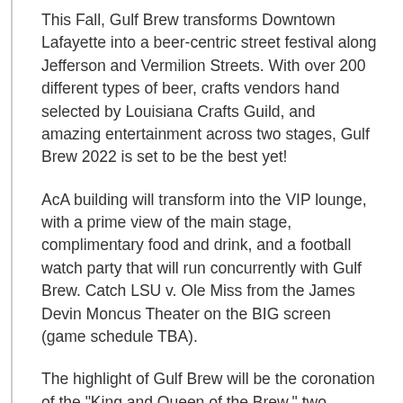This Fall, Gulf Brew transforms Downtown Lafayette into a beer-centric street festival along Jefferson and Vermilion Streets. With over 200 different types of beer, crafts vendors hand selected by Louisiana Crafts Guild, and amazing entertainment across two stages, Gulf Brew 2022 is set to be the best yet!
AcA building will transform into the VIP lounge, with a prime view of the main stage, complimentary food and drink, and a football watch party that will run concurrently with Gulf Brew. Catch LSU v. Ole Miss from the James Devin Moncus Theater on the BIG screen (game schedule TBA).
The highlight of Gulf Brew will be the coronation of the "King and Queen of the Brew," two community leaders who have triumphed in a fundraising competition in support of AcA's arts education